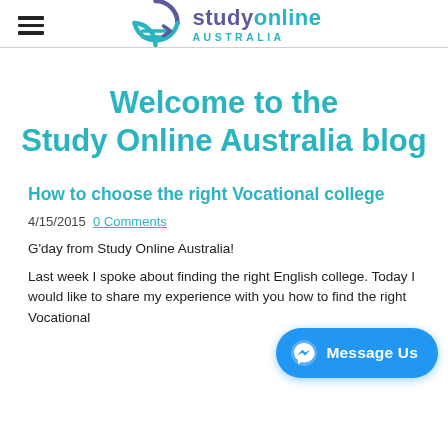studyonline AUSTRALIA
Welcome to the Study Online Australia blog
How to choose the right Vocational college
4/15/2015  0 Comments
G'day from Study Online Australia!
Last week I spoke about finding the right English college. Today I would like to share my experience with you how to find the right Vocational